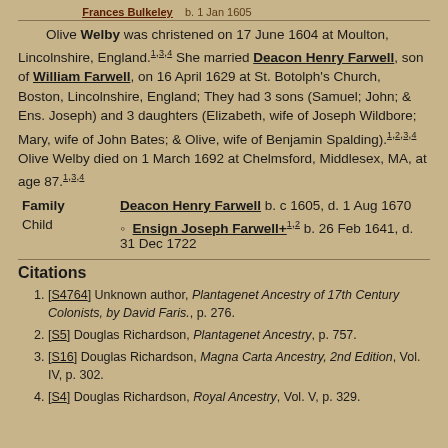Olive Welby was christened on 17 June 1604 at Moulton, Lincolnshire, England.1,3,4 She married Deacon Henry Farwell, son of William Farwell, on 16 April 1629 at St. Botolph's Church, Boston, Lincolnshire, England; They had 3 sons (Samuel; John; & Ens. Joseph) and 3 daughters (Elizabeth, wife of Joseph Wildbore; Mary, wife of John Bates; & Olive, wife of Benjamin Spalding).1,2,3,4 Olive Welby died on 1 March 1692 at Chelmsford, Middlesex, MA, at age 87.1,3,4
|  |  |
| --- | --- |
| Family | Deacon Henry Farwell b. c 1605, d. 1 Aug 1670 |
| Child | Ensign Joseph Farwell+1,2 b. 26 Feb 1641, d. 31 Dec 1722 |
Citations
[S4764] Unknown author, Plantagenet Ancestry of 17th Century Colonists, by David Faris., p. 276.
[S5] Douglas Richardson, Plantagenet Ancestry, p. 757.
[S16] Douglas Richardson, Magna Carta Ancestry, 2nd Edition, Vol. IV, p. 302.
[S4] Douglas Richardson, Royal Ancestry, Vol. V, p. 329.